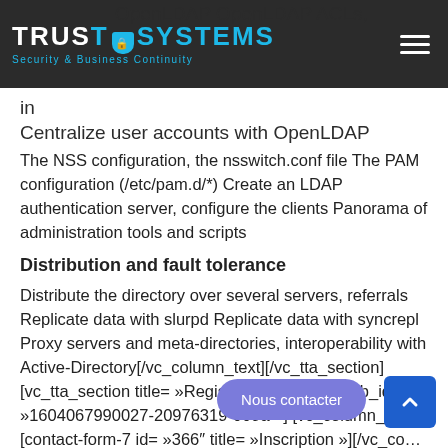TRUST SYSTEMS — Security & Business Continuity
OpenLDAP OpenLDAP ACLs, passwords and their in … Centralize user accounts with OpenLDAP
The NSS configuration, the nsswitch.conf file The PAM configuration (/etc/pam.d/*) Create an LDAP authentication server, configure the clients Panorama of administration tools and scripts
Distribution and fault tolerance
Distribute the directory over several servers, referrals Replicate data with slurpd Replicate data with syncrepl Proxy servers and meta-directories, interoperability with Active-Directory[/vc_column_text][/vc_tta_section] [vc_tta_section title= »Register for training » tab_id= »1604067990027-20976319-009a »] [vc_column_text][contact-form-7 id= »366″ title= »Inscription »][/vc_co… [/vc_tta_section][/vc_tta_tour][/vc_column]